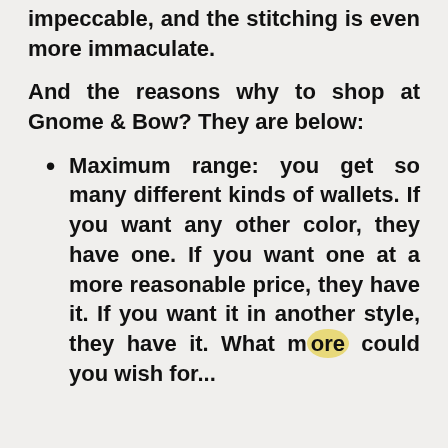Gnome & Bow. The quality is impeccable, and the stitching is even more immaculate.
And the reasons why to shop at Gnome & Bow? They are below:
Maximum range: you get so many different kinds of wallets. If you want any other color, they have one. If you want one at a more reasonable price, they have it. If you want it in another style, they have it. What more could you wish for...